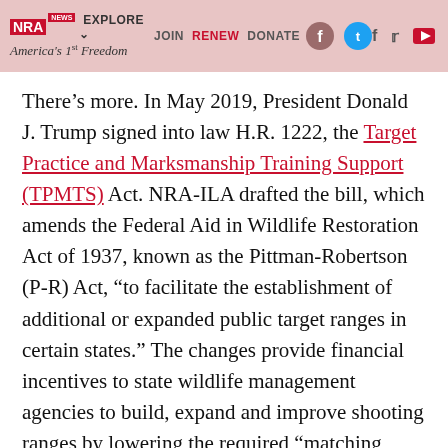NRA NEWS | America's 1st Freedom | EXPLORE | JOIN | RENEW | DONATE
There’s more. In May 2019, President Donald J. Trump signed into law H.R. 1222, the Target Practice and Marksmanship Training Support (TPMTS) Act. NRA-ILA drafted the bill, which amends the Federal Aid in Wildlife Restoration Act of 1937, known as the Pittman-Robertson (P-R) Act, “to facilitate the establishment of additional or expanded public target ranges in certain states.” The changes provide financial incentives to state wildlife management agencies to build, expand and improve shooting ranges by lowering the required “matching share” from 25 to 10 percent. It also increases the time grant funds remain available from two to five years.
But there’s even more. Seizing on the TPMTS